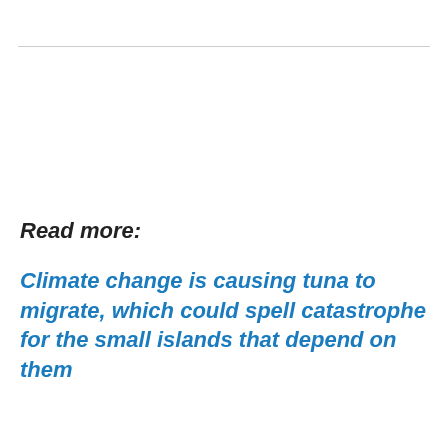Read more:
Climate change is causing tuna to migrate, which could spell catastrophe for the small islands that depend on them
[Figure (photo): Ocean water surface photo, blue water]
Privacy & Cookies: This site uses cookies. By continuing to use this website, you agree to their use.
To find out more, including how to control cookies, see here: Cookie Policy